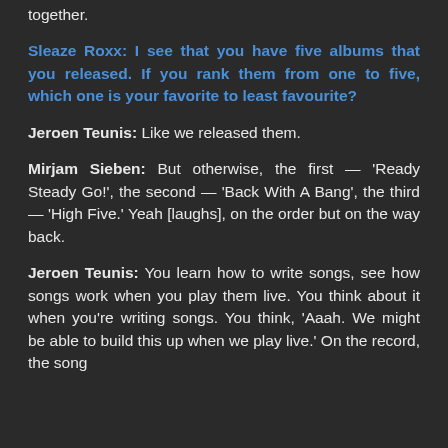together.
Sleaze Roxx: I see that you have five albums that you released. If you rank them from one to five, which one is your favorite to least favourite?
Jeroen Teunis: Like we released them.
Mirjam Sieben: But otherwise, the first — 'Ready Steady Go!', the second — 'Back With A Bang', the third — 'High Five.' Yeah [laughs], on the order but on the way back.
Jeroen Teunis: You learn how to write songs, see how songs work when you play them live. You think about it when you're writing songs. You think, 'Aaah. We might be able to build this up when we play live.' On the record, the song